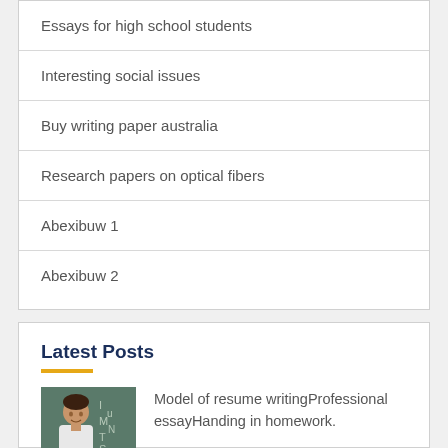Essays for high school students
Interesting social issues
Buy writing paper australia
Research papers on optical fibers
Abexibuw 1
Abexibuw 2
Latest Posts
[Figure (photo): Student in front of chalkboard with letters]
Model of resume writingProfessional essayHanding in homework.